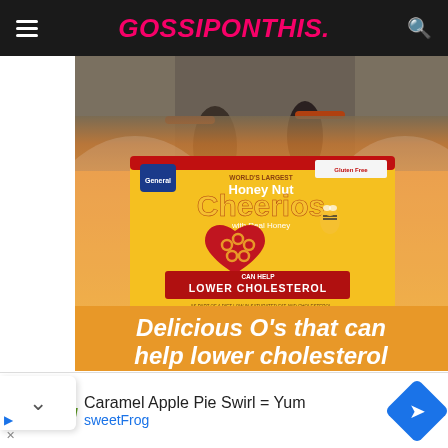GOSSIPONTHIS.
[Figure (photo): Honey Nut Cheerios advertisement showing the cereal box on an orange background with a person on a bicycle in background. Text reads: Delicious O's that can help lower cholesterol]
[Figure (infographic): sweetFrog advertisement banner: Caramel Apple Pie Swirl = Yum, sweetFrog]